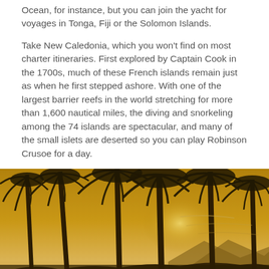Ocean, for instance, but you can join the yacht for voyages in Tonga, Fiji or the Solomon Islands.
Take New Caledonia, which you won't find on most charter itineraries. First explored by Captain Cook in the 1700s, much of these French islands remain just as when he first stepped ashore. With one of the largest barrier reefs in the world stretching for more than 1,600 nautical miles, the diving and snorkeling among the 74 islands are spectacular, and many of the small islets are deserted so you can play Robinson Crusoe for a day.
[Figure (photo): Sepia-toned photo of palm trees silhouetted against a golden sunset sky with mountains in the background]